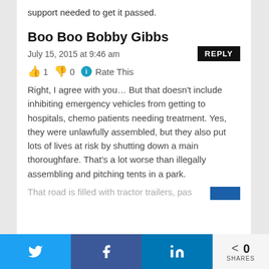support needed to get it passed.
Boo Boo Bobby Gibbs
July 15, 2015 at 9:46 am
👍 1 👎 0 ℹ Rate This
Right, I agree with you… But that doesn't include inhibiting emergency vehicles from getting to hospitals, chemo patients needing treatment. Yes, they were unlawfully assembled, but they also put lots of lives at risk by shutting down a main thoroughfare. That's a lot worse than illegally assembling and pitching tents in a park.
That road is filled with tractor trailers, pas…
0 SHARES